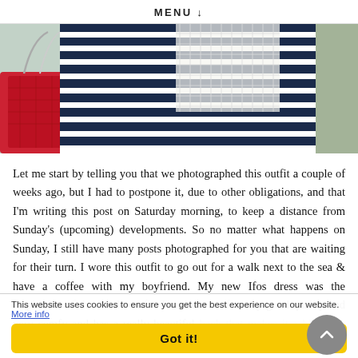MENU ↓
[Figure (photo): Close-up photo of a person wearing a navy and white horizontal striped dress or skirt with a white lacy/mesh overlay top, carrying a red quilted handbag with chain strap. Background is blurred outdoor setting.]
Let me start by telling you that we photographed this outfit a couple of weeks ago, but I had to postpone it, due to other obligations, and that I'm writing this post on Saturday morning, to keep a distance from Sunday's (upcoming) developments. So no matter what happens on Sunday, I still have many posts photographed for you that are waiting for their turn. I wore this outfit to go out for a walk next to the sea & have a coffee with my boyfriend. My new Ifos dress was the inspiration of the whole outfit. The dress is of a very good quality and very comfy and has a really beautiful back that makes it a bit boho, which is one of the biggest trends of the sea…
This website uses cookies to ensure you get the best experience on our website. More info
Got it!